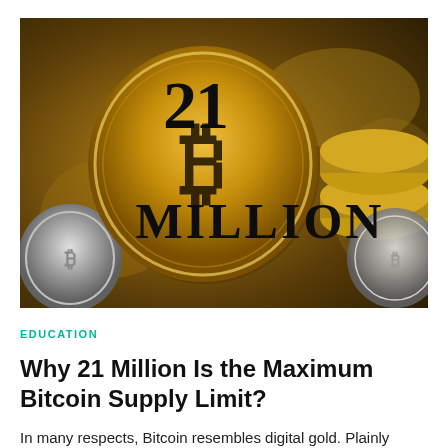[Figure (photo): A large gold Bitcoin coin showing the Bitcoin 'B' symbol with '21 MILLION' text overlaid in bold black letters, surrounded by other gold and silver coins stacked in the background.]
EDUCATION
Why 21 Million Is the Maximum Bitcoin Supply Limit?
In many respects, Bitcoin resembles digital gold. Plainly